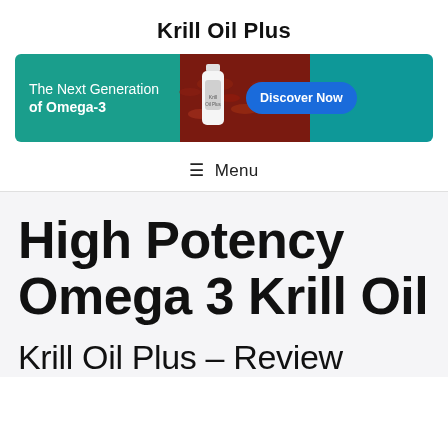Krill Oil Plus
[Figure (illustration): Promotional banner for Krill Oil Plus supplement: teal/green left section with text 'The Next Generation of Omega-3', center shows krill and a supplement bottle, right section has a blue rounded button 'Discover Now' on teal background.]
≡  Menu
High Potency Omega 3 Krill Oil
Krill Oil Plus – Review